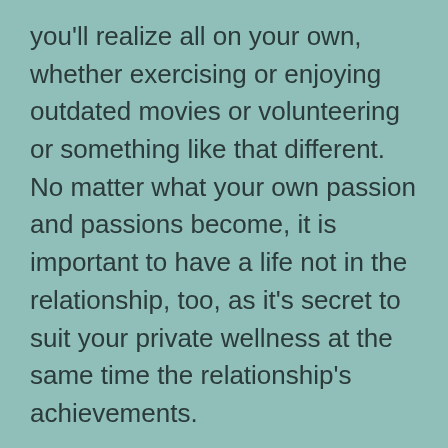you'll realize all on your own, whether exercising or enjoying outdated movies or volunteering or something like that different. No matter what your own passion and passions become, it is important to have a life not in the relationship, too, as it's secret to suit your private wellness at the same time the relationship's achievements.
As soon as you compose which you both “need” one another within everyday lives, i must touch upon that strength. We could possibly require things such as dinners, liquids and shelter but we should maybe not and